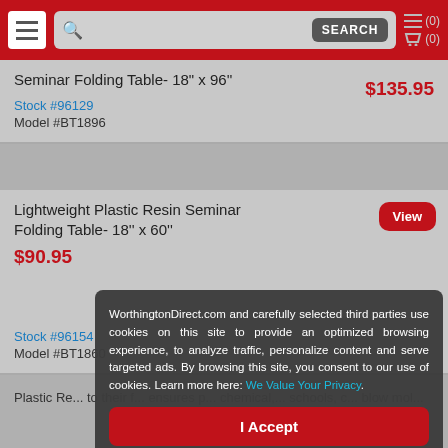WorthingtonDirect.com - Search bar with hamburger menu and cart icons
Seminar Folding Table- 18" x 96"
$135.95
Stock #96129
Model #BT1896
Lightweight Plastic Resin Seminar Folding Table- 18" x 60"
$90.95
Stock #96154
Model #BT1860
Plastic Re... to their f... ensures p... chemical,... schools, c... blow mol...
WorthingtonDirect.com and carefully selected third parties use cookies on this site to provide an optimized browsing experience, to analyze traffic, personalize content and serve targeted ads. By browsing this site, you consent to our use of cookies. Learn more here: We Value Your Privacy.
I Accept